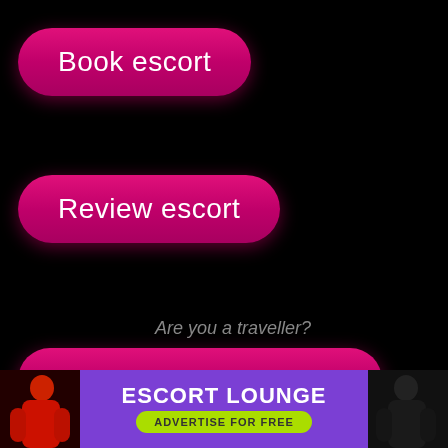[Figure (screenshot): Pink rounded button labeled 'Book escort' on black background]
[Figure (screenshot): Pink rounded button labeled 'Review escort' on black background]
Are you a traveller?
[Figure (screenshot): Pink rounded button labeled 'Book VIP escorts in Napoli' on black background]
[Figure (infographic): Advertisement banner: ESCORT LOUNGE - ADVERTISE FOR FREE, purple background with figures on left and right]